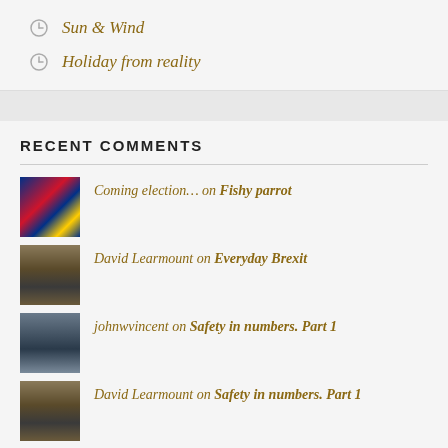Sun & Wind
Holiday from reality
RECENT COMMENTS
Coming election… on Fishy parrot
David Learmount on Everyday Brexit
johnwvincent on Safety in numbers. Part 1
David Learmount on Safety in numbers. Part 1
David Learmount on Island chaos